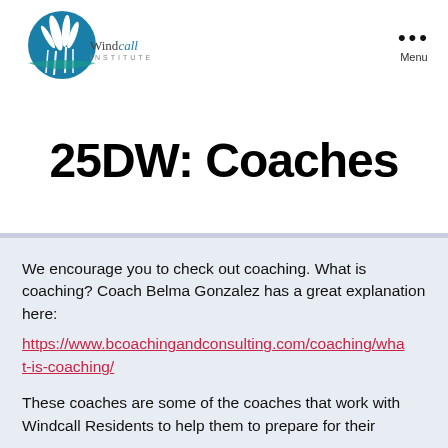[Figure (logo): Windcall Institute logo with blue circle and reed/grass graphic, text 'Windcall INSTITUTE']
25DW: Coaches
We encourage you to check out coaching.  What is coaching? Coach Belma Gonzalez has a great explanation here: https://www.bcoachingandconsulting.com/coaching/what-is-coaching/
These coaches are some of the coaches that work with Windcall Residents to help them to prepare for their